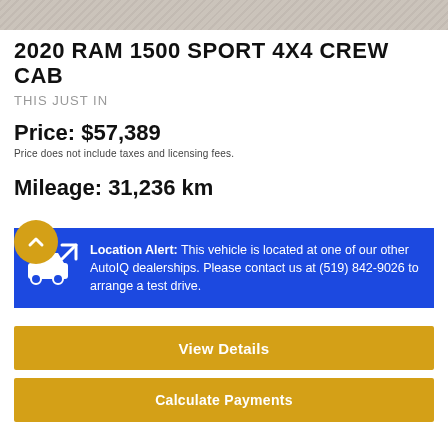[Figure (photo): Top portion of a vehicle photo, partially cropped]
2020 RAM 1500 SPORT 4X4 CREW CAB
THIS JUST IN
Price: $57,389
Price does not include taxes and licensing fees.
Mileage: 31,236 km
Location Alert: This vehicle is located at one of our other AutoIQ dealerships. Please contact us at (519) 842-9026 to arrange a test drive.
View Details
Calculate Payments
Begin Purchase
[Figure (logo): CARFAX Canada logo with maple leaf]
VIEW REPORT